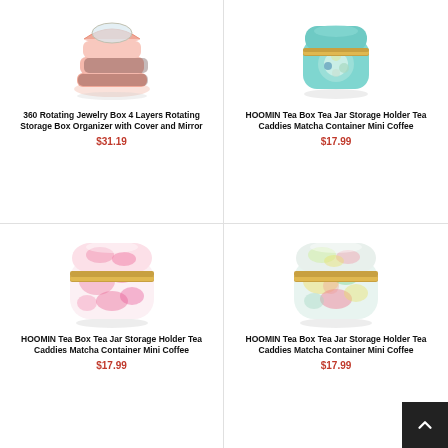[Figure (photo): Pink 360 rotating jewelry box with 4 layers and mirror, open showing compartments]
360 Rotating Jewelry Box 4 Layers Rotating Storage Box Organizer with Cover and Mirror
$31.19
[Figure (photo): Teal floral patterned HOOMIN tea jar/caddy with gold band lid]
HOOMIN Tea Box Tea Jar Storage Holder Tea Caddies Matcha Container Mini Coffee
$17.99
[Figure (photo): Pink watercolor patterned HOOMIN tea jar/caddy with gold band]
HOOMIN Tea Box Tea Jar Storage Holder Tea Caddies Matcha Container Mini Coffee
$17.99
[Figure (photo): Multicolor pastel patterned HOOMIN tea jar/caddy with gold band]
HOOMIN Tea Box Tea Jar Storage Holder Tea Caddies Matcha Container Mini Coffee
$17.99